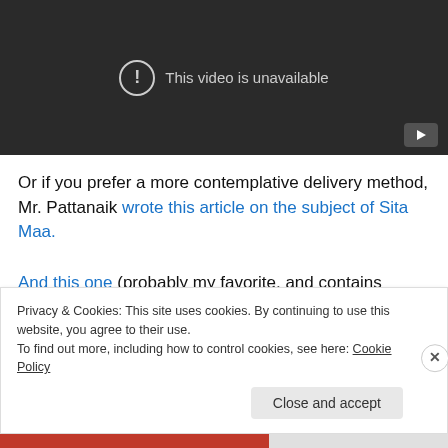[Figure (screenshot): Video player showing 'This video is unavailable' message on dark background with play button icon at bottom right]
Or if you prefer a more contemplative delivery method, Mr. Pattanaik wrote this article on the subject of Sita Maa.
And this one (probably my favorite, and contains versions of the story from many different regional perspectives).
Privacy & Cookies: This site uses cookies. By continuing to use this website, you agree to their use.
To find out more, including how to control cookies, see here: Cookie Policy